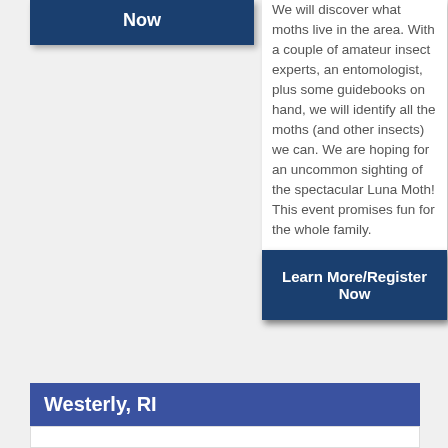Learn More/Register Now
We will discover what moths live in the area. With a couple of amateur insect experts, an entomologist, plus some guidebooks on hand, we will identify all the moths (and other insects) we can. We are hoping for an uncommon sighting of the spectacular Luna Moth! This event promises fun for the whole family.
Learn More/Register Now
Westerly, RI